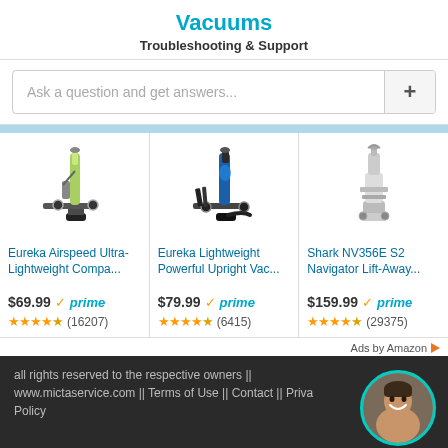Vacuums
Troubleshooting & Support
Ask a question and get answers...
[Figure (screenshot): Three vacuum cleaner product listings with images, prices, prime badges, and star ratings. Products: Eureka Airspeed Ultra-Lightweight Compa... $69.99 prime (16207 reviews), Eureka Lightweight Powerful Upright Vac... $79.99 prime (6415 reviews), Shark NV356E S2 Navigator Lift-Away... $159.99 prime (29375 reviews)]
Ads by Amazon
all rights reserved to the respective owners || www.mictaservice.com || Terms of Use || Contact || Privacy Policy
Load time: 0.0599 seconds